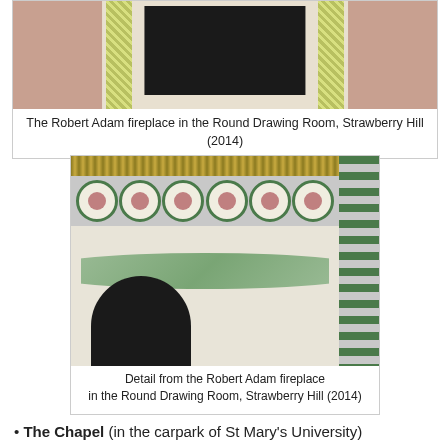[Figure (photo): The Robert Adam fireplace in the Round Drawing Room, Strawberry Hill. Photo shows an ornate fireplace with decorative columns against red walls.]
The Robert Adam fireplace in the Round Drawing Room, Strawberry Hill (2014)
[Figure (photo): Detail from the Robert Adam fireplace in the Round Drawing Room, Strawberry Hill. Shows decorative border with green circles containing floral motifs, gold beading, and painted foliage.]
Detail from the Robert Adam fireplace in the Round Drawing Room, Strawberry Hill (2014)
The Chapel (in the carpark of St Mary's University)